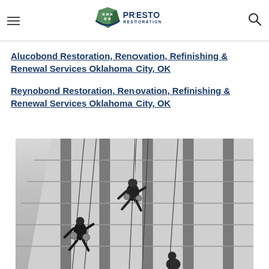Presto Restoration — navigation header with logo, hamburger menu, and search icon
Alucobond Restoration, Renovation, Refinishing & Renewal Services Oklahoma City, OK
Reynobond Restoration, Renovation, Refinishing & Renewal Services Oklahoma City, OK
[Figure (photo): Black and white photograph of workers rappelling on the glass facade of a tall commercial building, shot from below at an angle]